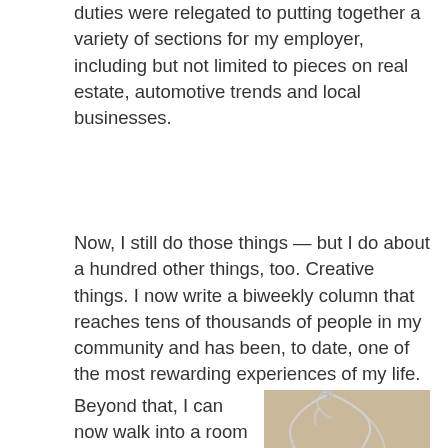duties were relegated to putting together a variety of sections for my employer, including but not limited to pieces on real estate, automotive trends and local businesses.
Now, I still do those things — but I do about a hundred other things, too. Creative things. I now write a biweekly column that reaches tens of thousands of people in my community and has been, to date, one of the most rewarding experiences of my life.
Beyond that, I can now walk into a room full of people I don't know and barely break a sweat. I've shaken
[Figure (photo): Photo of a silver necklace with a heart-shaped pendant resting on a map or parchment background]